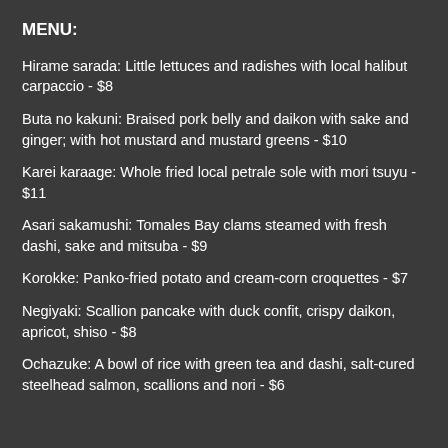MENU:
Hirame sarada: Little lettuces and radishes with local halibut carpaccio - $8
Buta no kakuni: Braised pork belly and daikon with sake and ginger; with hot mustard and mustard greens - $10
Karei karaage: Whole fried local petrale sole with mori tsuyu - $11
Asari sakamushi: Tomales Bay clams steamed with fresh dashi, sake and mitsuba - $9
Korokke: Panko-fried potato and cream-corn croquettes - $7
Negiyaki: Scallion pancake with duck confit, crispy daikon, apricot, shiso - $8
Ochazuke: A bowl of rice with green tea and dashi, salt-cured steelhead salmon, scallions and nori - $6